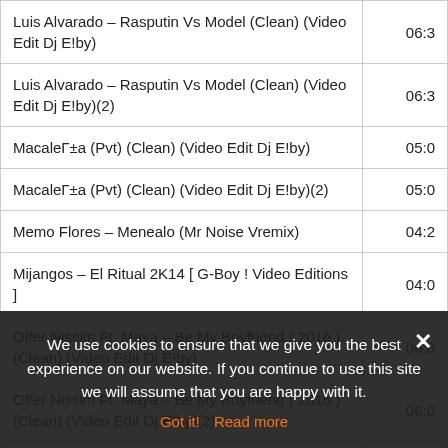| Track Title | Duration |
| --- | --- |
| Luis Alvarado – Rasputin Vs Model (Clean) (Video Edit Dj E!by) | 06:3 |
| Luis Alvarado – Rasputin Vs Model (Clean) (Video Edit Dj E!by)(2) | 06:3 |
| MacaleΓ±a (Pvt) (Clean) (Video Edit Dj E!by) | 05:0 |
| MacaleΓ±a (Pvt) (Clean) (Video Edit Dj E!by)(2) | 05:0 |
| Memo Flores – Menealo (Mr Noise Vremix) | 04:2 |
| Mijangos – El Ritual 2K14 [ G-Boy ! Video Editions ] | 04:0 |
| Offer Nissim Ft. Maya – Be My Boyfriend ( 2016 ) (Clean) (Video Edit Dj E!by) | 06:0 |
| Offer Nissim Ft. Maya – Be My Boyfriend ( 2016 ) (Clean) (Video Edit Dj E!by)(2) | 06:0 |
| One One – Gerardo Gurrola (Visual Masters Vj) (Dj Gurrola)ean) |  |
We use cookies to ensure that we give you the best experience on our website. If you continue to use this site we will assume that you are happy with it.